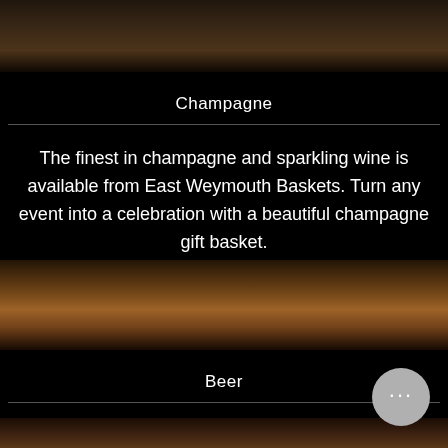[Figure (photo): Dark brown wood grain background photo at top of page]
Champagne
The finest in champagne and sparkling wine is available from East Weymouth Baskets. Turn any event into a celebration with a beautiful champagne gift basket.
[Figure (photo): Close-up photo of beer glasses with amber liquid on a wooden surface]
Beer
Find the perfect gift for a beer lover at East Weymouth Gift Baskets. Whether it's a big name brand or a smaller craft beer, we're sure to have just what you need.